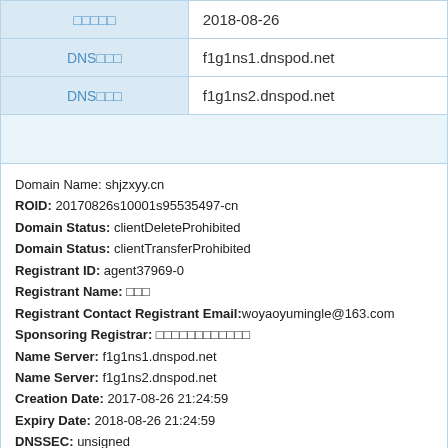| □□□□□ | 2018-08-26 |
| DNS□□□ | f1g1ns1.dnspod.net |
| DNS□□□ | f1g1ns2.dnspod.net |
|  |  |
Domain Name: shjzxyy.cn
ROID: 20170826s10001s95535497-cn
Domain Status: clientDeleteProhibited
Domain Status: clientTransferProhibited
Registrant ID: agent37969-0
Registrant Name: □□□
Registrant Contact Registrant Email:woyaoyumingle@163.com
Sponsoring Registrar: □□□□□□□□□□□□
Name Server: f1g1ns1.dnspod.net
Name Server: f1g1ns2.dnspod.net
Creation Date: 2017-08-26 21:24:59
Expiry Date: 2018-08-26 21:24:59
DNSSEC: unsigned
| □□□□ | □□ |
| --- | --- |